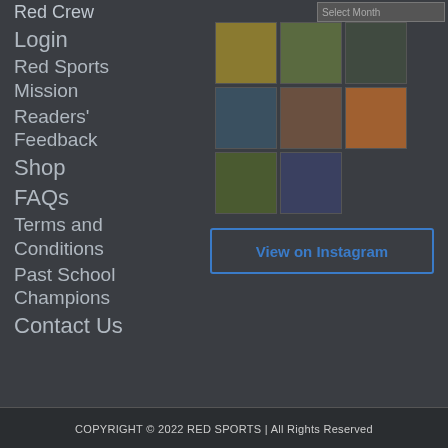Red Crew
Login
Red Sports Mission
Readers' Feedback
Shop
FAQs
Terms and Conditions
Past School Champions
Contact Us
[Figure (photo): Grid of 8 sports photography thumbnails from Instagram feed]
View on Instagram
COPYRIGHT © 2022 RED SPORTS | All Rights Reserved